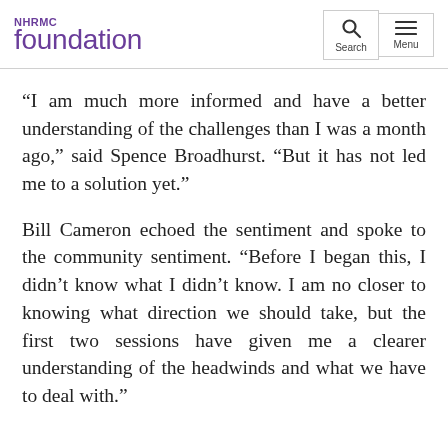NHRMC foundation
“I am much more informed and have a better understanding of the challenges than I was a month ago,” said Spence Broadhurst. “But it has not led me to a solution yet.”
Bill Cameron echoed the sentiment and spoke to the community sentiment. “Before I began this, I didn’t know what I didn’t know. I am no closer to knowing what direction we should take, but the first two sessions have given me a clearer understanding of the headwinds and what we have to deal with.”